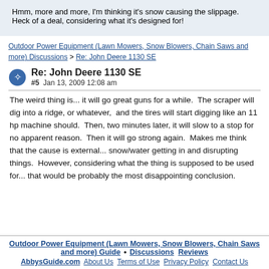Hmm, more and more, I'm thinking it's snow causing the slippage.  Heck of a deal, considering what it's designed for!
Outdoor Power Equipment (Lawn Mowers, Snow Blowers, Chain Saws and more) Discussions > Re: John Deere 1130 SE
Re: John Deere 1130 SE
#5   Jan 13, 2009 12:08 am
The weird thing is... it will go great guns for a while.  The scraper will dig into a ridge, or whatever,  and the tires will start digging like an 11 hp machine should.  Then, two minutes later, it will slow to a stop for no apparent reason.  Then it will go strong again.  Makes me think that the cause is external... snow/water getting in and disrupting things.  However, considering what the thing is supposed to be used for... that would be probably the most disappointing conclusion.
Outdoor Power Equipment (Lawn Mowers, Snow Blowers, Chain Saws and more) Guide • Discussions  Reviews
AbbysGuide.com  About Us  Terms of Use  Privacy Policy  Contact Us